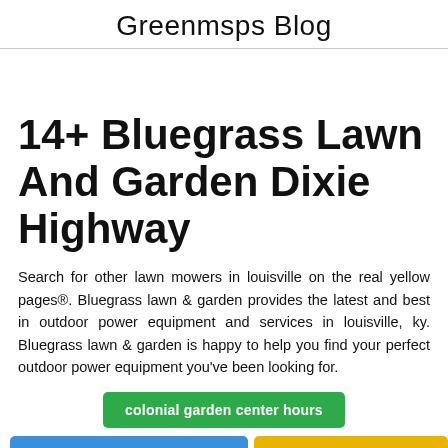Greenmsps Blog
14+ Bluegrass Lawn And Garden Dixie Highway
Search for other lawn mowers in louisville on the real yellow pages®. Bluegrass lawn & garden provides the latest and best in outdoor power equipment and services in louisville, ky. Bluegrass lawn & garden is happy to help you find your perfect outdoor power equipment you've been looking for.
colonial garden center hours
city peoples garden store hours
circle raised garden beds
CLOSE X